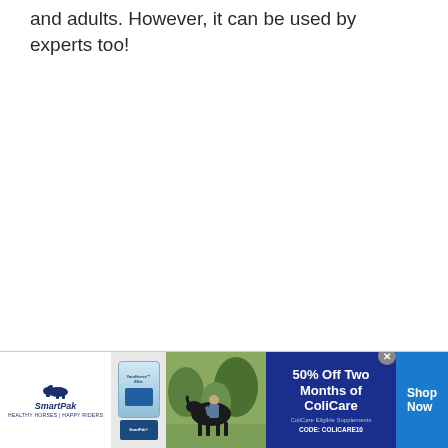and adults. However, it can be used by experts too!
Chances are you'll get tired of manually
[Figure (illustration): SmartPak advertisement banner showing logo, supplement product, horse and rider photo, '50% Off Two Months of ColiCare' offer with code COLICARE10, and Shop Now button]